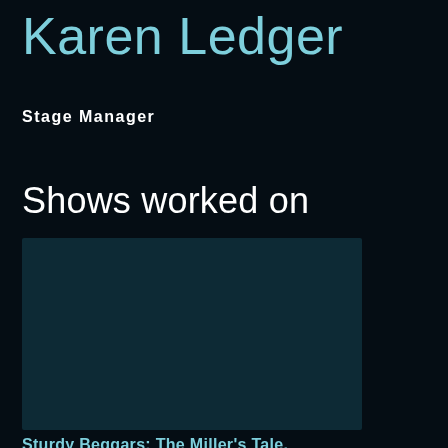Karen Ledger
Stage Manager
Shows worked on
[Figure (photo): A dark teal/blue rectangular image placeholder area]
Sturdy Beggars: The Miller's Tale,